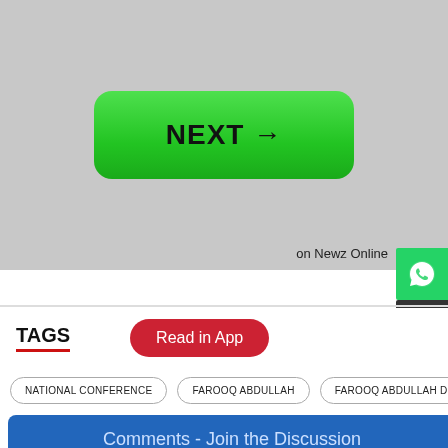[Figure (screenshot): Gray background area with a green 'NEXT →' button centered]
on Newz Online
[Figure (other): WhatsApp share icon button (green)]
[Figure (other): Share icon button (dark gray)]
TAGS
Read in App
NATIONAL CONFERENCE
FAROOQ ABDULLAH
FAROOQ ABDULLAH DETI
Comments - Join the Discussion